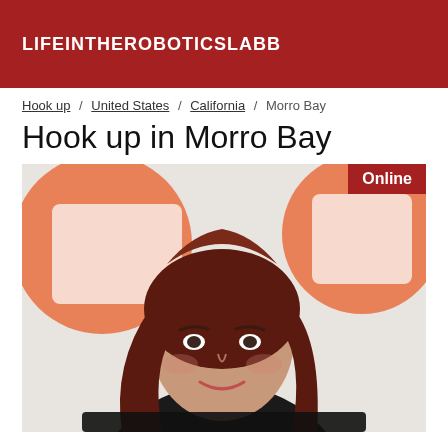LIFEINTHEROBOTICSLABB
Hook up / United States / California / Morro Bay
Hook up in Morro Bay
[Figure (photo): Profile photo of a woman with long dark red/auburn hair, smiling, leaning forward, wearing black, with orange circles visible in the background. An 'Online' badge in red appears top-right.]